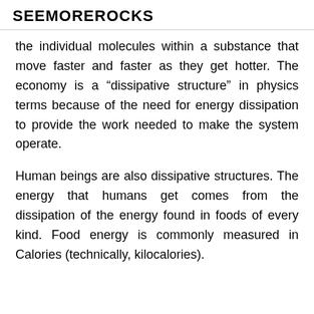SEEMOREROCKS
the individual molecules within a substance that move faster and faster as they get hotter. The economy is a “dissipative structure” in physics terms because of the need for energy dissipation to provide the work needed to make the system operate.
Human beings are also dissipative structures. The energy that humans get comes from the dissipation of the energy found in foods of every kind. Food energy is commonly measured in Calories (technically, kilocalories).